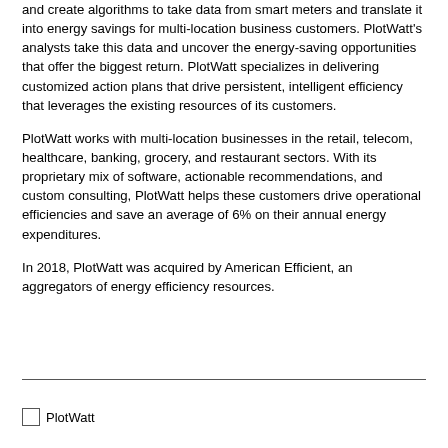and create algorithms to take data from smart meters and translate it into energy savings for multi-location business customers. PlotWatt's analysts take this data and uncover the energy-saving opportunities that offer the biggest return. PlotWatt specializes in delivering customized action plans that drive persistent, intelligent efficiency that leverages the existing resources of its customers.
PlotWatt works with multi-location businesses in the retail, telecom, healthcare, banking, grocery, and restaurant sectors. With its proprietary mix of software, actionable recommendations, and custom consulting, PlotWatt helps these customers drive operational efficiencies and save an average of 6% on their annual energy expenditures.
In 2018, PlotWatt was acquired by American Efficient, an aggregators of energy efficiency resources.
PlotWatt